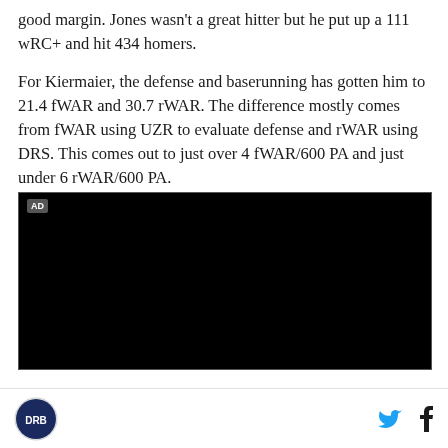good margin. Jones wasn't a great hitter but he put up a 111 wRC+ and hit 434 homers.
For Kiermaier, the defense and baserunning has gotten him to 21.4 fWAR and 30.7 rWAR. The difference mostly comes from fWAR using UZR to evaluate defense and rWAR using DRS. This comes out to just over 4 fWAR/600 PA and just under 6 rWAR/600 PA.
[Figure (other): Black advertisement block with 'AD' label in top-left corner]
DRB logo, Twitter icon, Facebook icon